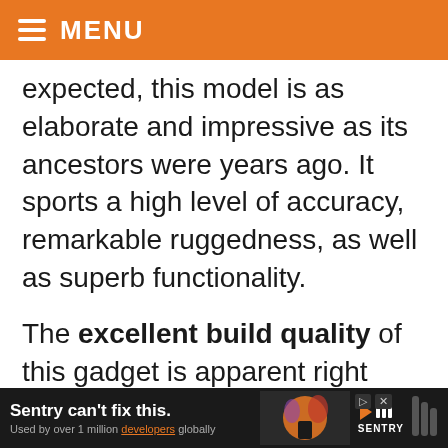MENU
expected, this model is as elaborate and impressive as its ancestors were years ago. It sports a high level of accuracy, remarkable ruggedness, as well as superb functionality.
The excellent build quality of this gadget is apparent right from the start – its sturdy case has been built to withstand any kind of abuse. This toughened construction can take a lot of beating and is one of the device's
Sentry can't fix this. Used by over 1 million developers globally